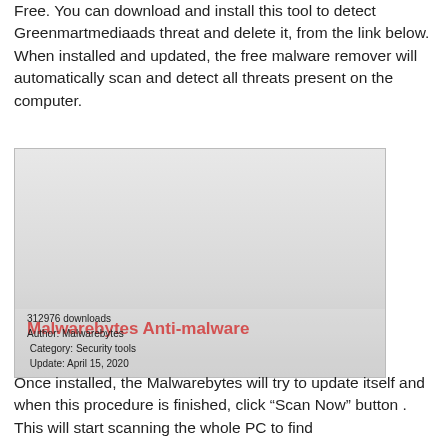Free. You can download and install this tool to detect Greenmartmediaads threat and delete it, from the link below. When installed and updated, the free malware remover will automatically scan and detect all threats present on the computer.
[Figure (screenshot): Screenshot or image of Malwarebytes Anti-malware software with title in red, showing 312976 downloads, Author: Malwarebytes, Category: Security tools, Update: April 15, 2020]
Once installed, the Malwarebytes will try to update itself and when this procedure is finished, click “Scan Now” button . This will start scanning the whole PC to find